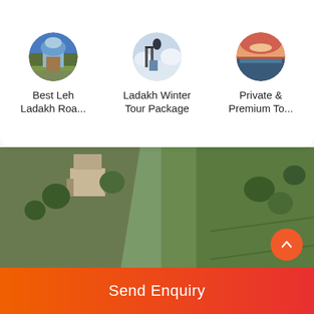[Figure (illustration): Circular thumbnail of Best Leh Ladakh Road trip package]
Best Leh Ladakh Roa...
[Figure (illustration): Circular thumbnail of Ladakh Winter Tour Package]
Ladakh Winter Tour Package
[Figure (illustration): Circular thumbnail of Private & Premium Tour]
Private & Premium To...
[Figure (photo): Scenic suspension wooden bridge over a river surrounded by terraced green hills and mountains, with a lone person walking on it]
Counted among the most popular hill stations in the entirety of India, Manali is a scenic town in the state of Himachal Pradesh located at an altitude of 2050 meters. Some of the major tourist attractions in Manali are Hidimba Devi Temple, Bijli Mahadev Temple, and Rozy Piazza...